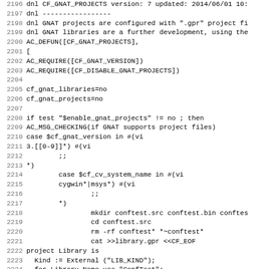Source code listing lines 2196-2227, shell/autoconf script for CF_GNAT_PROJECTS macro
2196 dnl CF_GNAT_PROJECTS version: 7 updated: 2014/06/01 10:...
2197 dnl -----------------
2198 dnl GNAT projects are configured with ".gpr" project fi...
2199 dnl GNAT libraries are a further development, using the...
2200 AC_DEFUN([CF_GNAT_PROJECTS],
2201 [
2202 AC_REQUIRE([CF_GNAT_VERSION])
2203 AC_REQUIRE([CF_DISABLE_GNAT_PROJECTS])
2204
2205 cf_gnat_libraries=no
2206 cf_gnat_projects=no
2207
2208 if test "$enable_gnat_projects" != no ; then
2209 AC_MSG_CHECKING(if GNAT supports project files)
2210 case $cf_gnat_version in #(vi
2211 3.[[0-9]]*) #(vi
2212         ;;
2213 *)
2214         case $cf_cv_system_name in #(vi
2215         cygwin*|msys*) #(vi
2216                 ;;
2217         *)
2218                 mkdir conftest.src conftest.bin conftes...
2219                 cd conftest.src
2220                 rm -rf conftest* *~conftest*
2221                 cat >>library.gpr <<CF_EOF
2222 project Library is
2223   Kind := External ("LIB_KIND");
2224   for Library_Name use "ConfTest";
2225   for Object_Dir use ".";
2226   for Library_ALI_Dir use External("LIBRARY_DIR");
2227   for Library_Version use External ("SONAME");